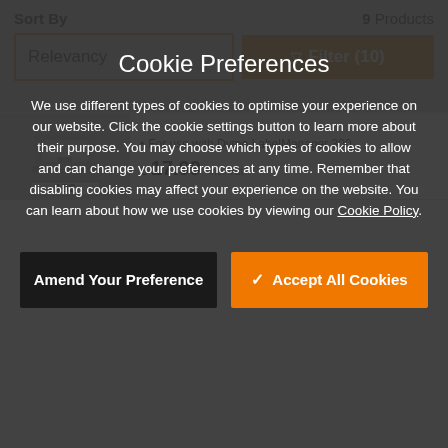Sort By   9 Products
Relevancy   ▽ Filter (10)
For use with Dymo LabelManager 300.
£ 17.99 inc. vat
Cookie Preferences
We use different types of cookies to optimise your experience on our website. Click the cookie settings button to learn more about their purpose. You may choose which types of cookies to allow and can change your preferences at any time. Remember that disabling cookies may affect your experience on the website. You can learn about how we use cookies by viewing our Cookie Policy.
Amend Your Preference
✓ Accept All Cookies